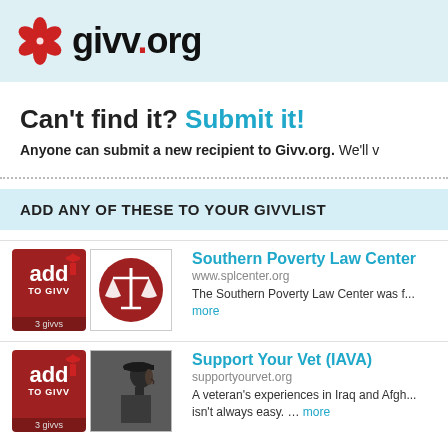[Figure (logo): givv.org logo with red flower icon and bold black text]
Can't find it? Submit it!
Anyone can submit a new recipient to Givv.org.  We'll v...
ADD ANY OF THESE TO YOUR GIVVLIST
[Figure (other): Add to Givv button and Southern Poverty Law Center logo (scales of justice on red circle)]
Southern Poverty Law Center
www.splcenter.org
The Southern Poverty Law Center was f... more
[Figure (other): Add to Givv button and photo of soldier in profile wearing beret]
Support Your Vet (IAVA)
supportyourvet.org
A veteran's experiences in Iraq and Afgh... isn't always easy. … more